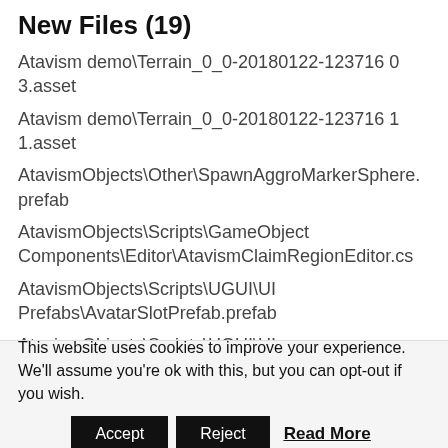New Files (19)
Atavism demo\Terrain_0_0-20180122-123716 03.asset
Atavism demo\Terrain_0_0-20180122-123716 11.asset
AtavismObjects\Other\SpawnAggroMarkerSphere.prefab
AtavismObjects\Scripts\GameObjectComponents\Editor\AtavismClaimRegionEditor.cs
AtavismObjects\Scripts\UGUI\UI Prefabs\AvatarSlotPrefab.prefab
AtavismObjects\Scripts\UGUI\UI Prefabs\CraftSkillPrefab.prefab
This website uses cookies to improve your experience. We'll assume you're ok with this, but you can opt-out if you wish.